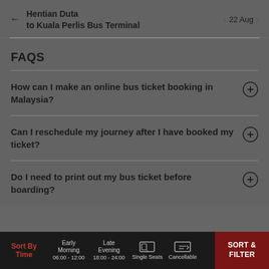Hentian Duta to Kuala Perlis Bus Terminal — 22 Aug
FAQS
How can I make an online bus ticket booking in Malaysia?
Can I reschedule my journey after I have booked my ticket?
Do I need to print out my bus ticket before boarding?
Sort By Time | Early Morning 06:00 - 12:00 | Late Evening 18:00 - 24:00 | Single Seats | Cancellable | SORT & FILTER